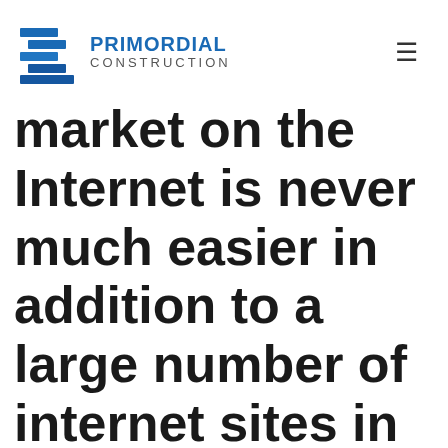[Figure (logo): Primordial Construction logo with blue building icon and company name in blue and gray text]
market on the Internet is never much easier in addition to a large number of internet sites in existence that allow you to locate